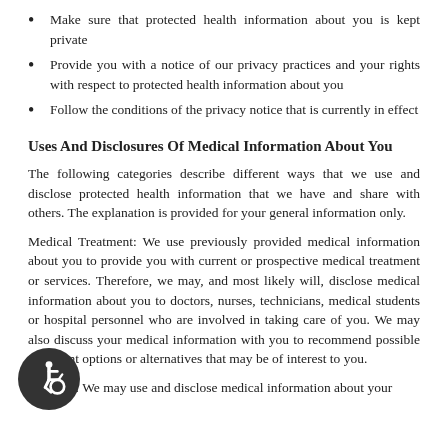Make sure that protected health information about you is kept private
Provide you with a notice of our privacy practices and your rights with respect to protected health information about you
Follow the conditions of the privacy notice that is currently in effect
Uses And Disclosures Of Medical Information About You
The following categories describe different ways that we use and disclose protected health information that we have and share with others. The explanation is provided for your general information only.
Medical Treatment: We use previously provided medical information about you to provide you with current or prospective medical treatment or services. Therefore, we may, and most likely will, disclose medical information about you to doctors, nurses, technicians, medical students or hospital personnel who are involved in taking care of you. We may also discuss your medical information with you to recommend possible treatment options or alternatives that may be of interest to you.
Payment: We may use and disclose medical information about your...